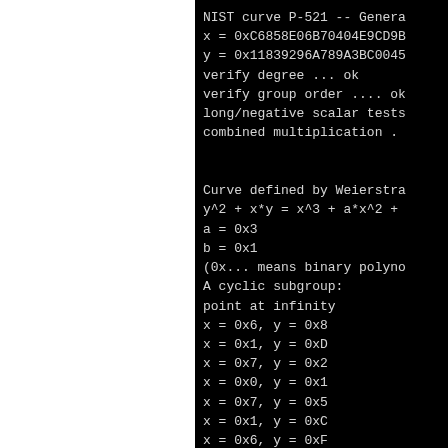[Figure (screenshot): Terminal/console output showing NIST curve P-521 generator point verification, followed by a Weierstrass curve definition with points of a cyclic subgroup. Black background with monospace light-colored text. Left portion of page is white (likely a margin or adjacent panel).]